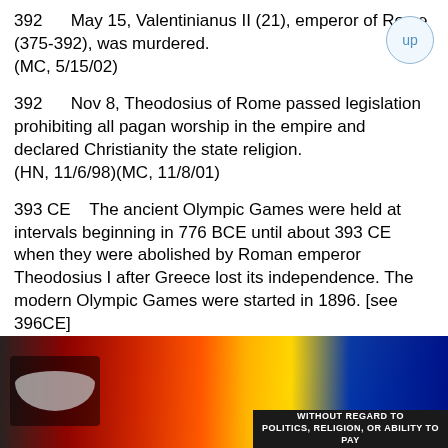392   May 15, Valentinianus II (21), emperor of Rome (375-392), was murdered.  (MC, 5/15/02)
392   Nov 8, Theodosius of Rome passed legislation prohibiting all pagan worship in the empire and declared Christianity the state religion.  (HN, 11/6/98)(MC, 11/8/01)
393 CE   The ancient Olympic Games were held at intervals beginning in 776 BCE until about 393 CE when they were abolished by Roman emperor Theodosius I after Greece lost its independence. The modern Olympic Games were started in 1896. [see 396CE]  (HNQ, 11/23/98)
394   Sep 6, Theodosius became sole ruler of Italy after defeating Eugenius at the Battle of the River Frigidus
[Figure (photo): Advertisement banner showing a cargo aircraft on tarmac with colorful livery, with a dark overlay banner reading WITHOUT REGARD TO POLITICS, RELIGION, OR ABILITY TO PAY]